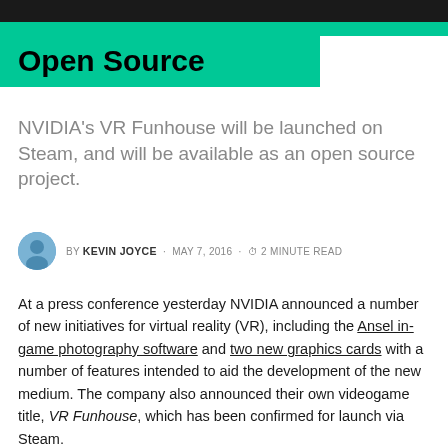Open Source
NVIDIA's VR Funhouse will be launched on Steam, and will be available as an open source project.
BY KEVIN JOYCE · MAY 7, 2016 · 2 MINUTE READ
At a press conference yesterday NVIDIA announced a number of new initiatives for virtual reality (VR), including the Ansel in-game photography software and two new graphics cards with a number of features intended to aid the development of the new medium. The company also announced their own videogame title, VR Funhouse, which has been confirmed for launch via Steam.